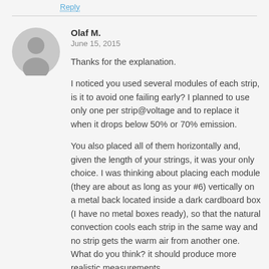Reply
[Figure (illustration): Grey circular user avatar silhouette]
Olaf M.
June 15, 2015
Thanks for the explanation.
I noticed you used several modules of each strip, is it to avoid one failing early? I planned to use only one per strip@voltage and to replace it when it drops below 50% or 70% emission.
You also placed all of them horizontally and, given the length of your strings, it was your only choice. I was thinking about placing each module (they are about as long as your #6) vertically on a metal back located inside a dark cardboard box (I have no metal boxes ready), so that the natural convection cools each strip in the same way and no strip gets the warm air from another one. What do you think? it should produce more realistic measurements.
As reference measurement, I will use the LED integrated in http://www.adafruit.com/products/1334 with a